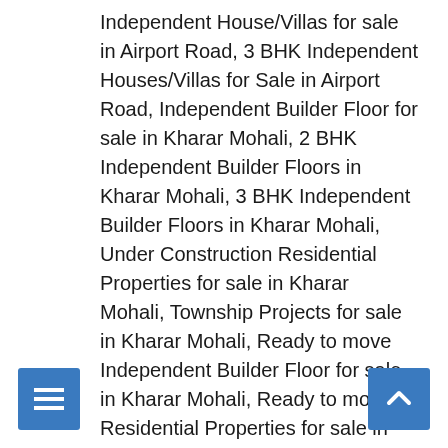Independent House/Villas for sale in Airport Road, 3 BHK Independent Houses/Villas for Sale in Airport Road, Independent Builder Floor for sale in Kharar Mohali, 2 BHK Independent Builder Floors in Kharar Mohali, 3 BHK Independent Builder Floors in Kharar Mohali, Under Construction Residential Properties for sale in Kharar Mohali, Township Projects for sale in Kharar Mohali, Ready to move Independent Builder Floor for sale in Kharar Mohali, Ready to move Residential Properties for sale in Kharar Mohali, Under Construction Projects in Kharar Mohali, Ready to move Apartments for sale in Kharar Mohali, Independent House/Villas for sale in Kharar Mohali, 3 BHK Independent Houses/Villas for Sale in Kharar Mohali, 2 BHK Independent Houses/Villas for Sale in Kharar Mohali, GVT Builders and Developers GVT Green